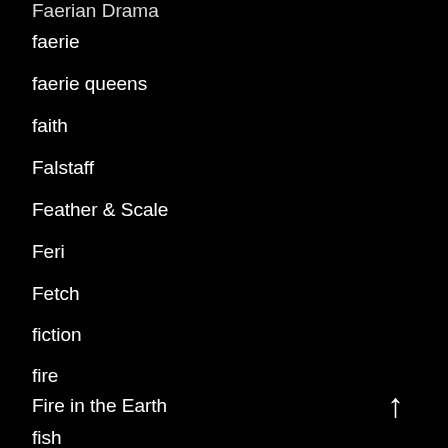Faerian Drama
faerie
faerie queens
faith
Falstaff
Feather & Scale
Feri
Fetch
fiction
fire
Fire in the Earth
fish